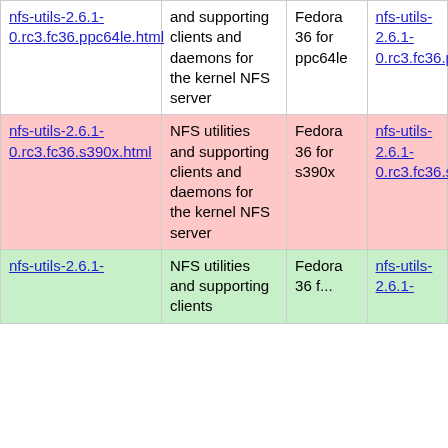| Package | Description | Distribution | Package |
| --- | --- | --- | --- |
| nfs-utils-2.6.1-0.rc3.fc36.ppc64le.html | and supporting clients and daemons for the kernel NFS server | Fedora 36 for ppc64le | nfs-utils-2.6.1-0.rc3.fc36.ppc64le |
| nfs-utils-2.6.1-0.rc3.fc36.s390x.html | NFS utilities and supporting clients and daemons for the kernel NFS server | Fedora 36 for s390x | nfs-utils-2.6.1-0.rc3.fc36.s390x |
| nfs-utils-2.6.1-... | NFS utilities and supporting clients | Fedora 36 f... | nfs-utils-2.6.1-... |